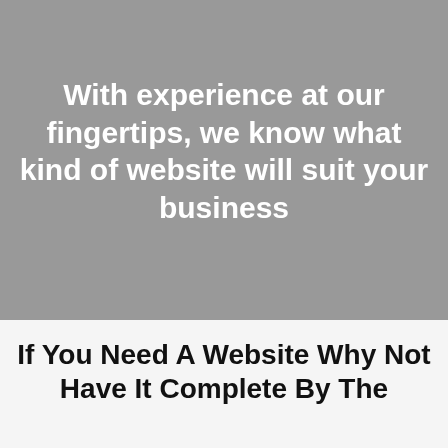Pure Code
With experience at our fingertips, we know what kind of website will suit your business
If You Need A Website Why Not Have It Complete By The